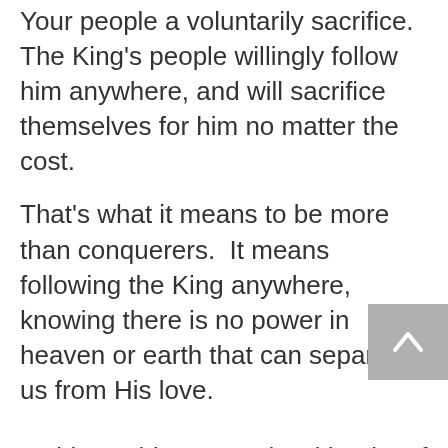Your people a voluntarily sacrifice. The King's people willingly follow him anywhere, and will sacrifice themselves for him no matter the cost.
That's what it means to be more than conquerers.  It means following the King anywhere, knowing there is no power in heaven or earth that can separate us from His love.
In this world are people with a lot of power who use their power to exploit the weak and the vulnerable, that's what we explored when we talked about how technology has been abused to exploit all of us.  As disciples of King Jesus, we cannot be intimidated, or fooled into believing